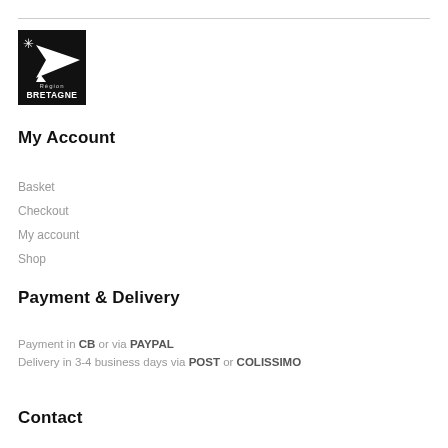[Figure (logo): Région Bretagne logo — black square with white ermine/arrow motif and text 'Région BRETAGNE']
My Account
Basket
Checkout
My account
Shop
Payment & Delivery
Payment in CB or via PAYPAL
Delivery in 3-4 business days via POST or COLISSIMO
Contact